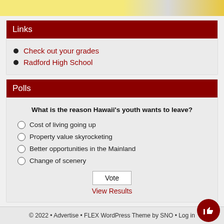[Figure (other): Banner advertisement image with yellow and grey gradient colors]
Links
Check out your grades
Radford High School
Polls
What is the reason Hawaii's youth wants to leave?
Cost of living going up
Property value skyrocketing
Better opportunities in the Mainland
Change of scenery
Vote
View Results
© 2022 • Advertise • FLEX WordPress Theme by SNO • Log in